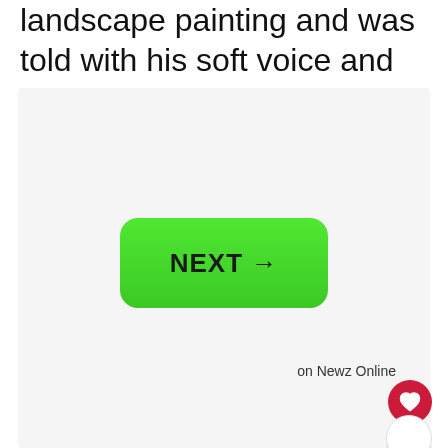landscape painting and was told with his soft voice and kind personality.
[Figure (screenshot): Green NEXT button with arrow on a light gray background, with 'on Newz Online' text, a red heart/like button, a count of 9, and a share button]
on Newz Online